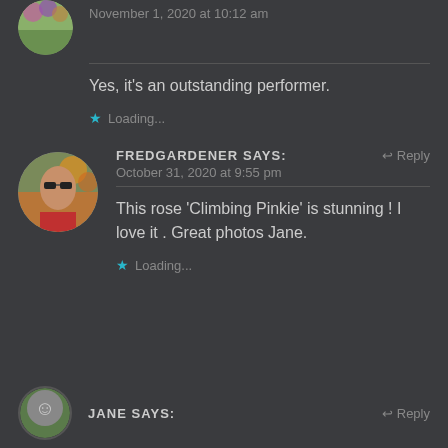[Figure (photo): Circular avatar photo of a user showing colorful flowers in the background]
November 1, 2020 at 10:12 am
Yes, it's an outstanding performer.
Loading...
[Figure (photo): Circular avatar photo of Fred Gardener, a man wearing sunglasses with flowers in background]
FREDGARDENER says:
Reply
October 31, 2020 at 9:55 pm
This rose 'Climbing Pinkie' is stunning ! I love it . Great photos Jane.
Loading...
[Figure (photo): Circular avatar photo of Jane, partially visible at bottom]
JANE says:
Reply